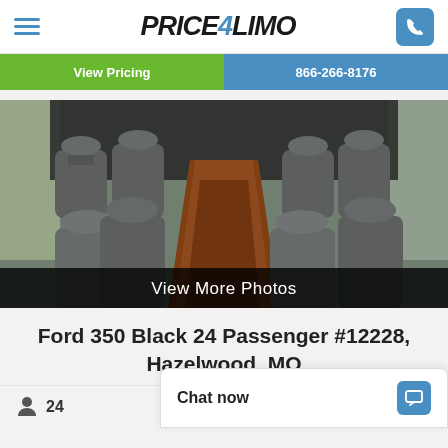PRICE4LIMO
View Pricing | 866-266-8176
[Figure (photo): Interior view of a Ford 350 Black 24 Passenger bus showing rows of gray leather seats with a wood-panel center aisle]
View More Photos
Ford 350 Black 24 Passenger #12228, Hazelwood, MO
24
Chat now